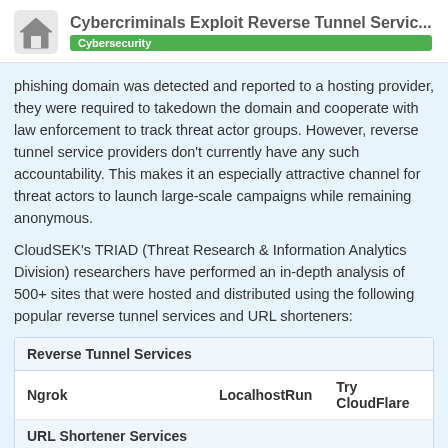Cybercriminals Exploit Reverse Tunnel Servic... | Cybersecurity
phishing domain was detected and reported to a hosting provider, they were required to takedown the domain and cooperate with law enforcement to track threat actor groups. However, reverse tunnel service providers don't currently have any such accountability. This makes it an especially attractive channel for threat actors to launch large-scale campaigns while remaining anonymous.
CloudSEK's TRIAD (Threat Research & Information Analytics Division) researchers have performed an in-depth analysis of 500+ sites that were hosted and distributed using the following popular reverse tunnel services and URL shorteners:
| Reverse Tunnel Services |  |  |
| --- | --- | --- |
| Ngrok | LocalhostRun | Try CloudFlare |
| URL Shortener Services |  |  |
| Bit[.]Ly | is[.]gd | 1 / 1 |